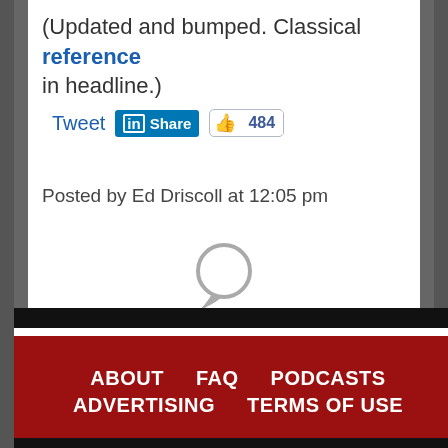(Updated and bumped. Classical reference in headline.)
[Figure (screenshot): Social sharing buttons: Tweet link, LinkedIn Share button, Facebook share button showing count 484]
Posted by Ed Driscoll at 12:05 pm
[Figure (illustration): Gray comment bubble icon]
ABOUT   FAQ   PODCASTS   ADVERTISING   TERMS OF USE